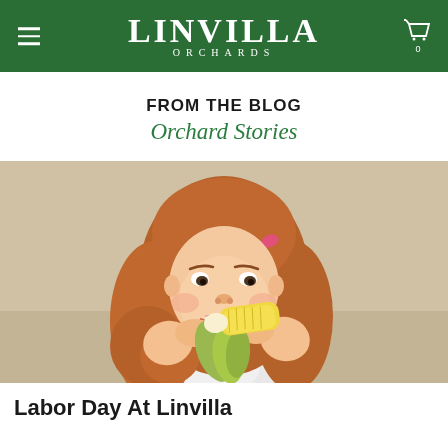Linvilla Orchards
FROM THE BLOG
Orchard Stories
[Figure (photo): A young girl with red wavy hair and a pink hair clip biting into a fresh ear of corn, holding it with both hands. Background is a warm beige/tan color.]
Labor Day At Linvilla